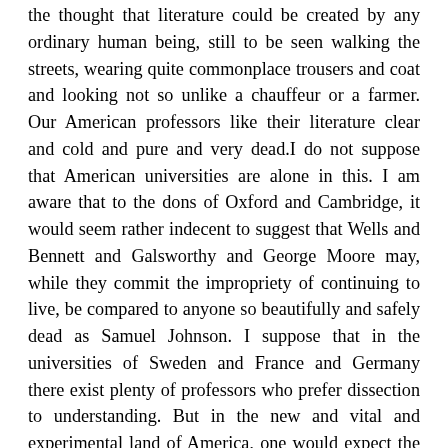the thought that literature could be created by any ordinary human being, still to be seen walking the streets, wearing quite commonplace trousers and coat and looking not so unlike a chauffeur or a farmer. Our American professors like their literature clear and cold and pure and very dead.I do not suppose that American universities are alone in this. I am aware that to the dons of Oxford and Cambridge, it would seem rather indecent to suggest that Wells and Bennett and Galsworthy and George Moore may, while they commit the impropriety of continuing to live, be compared to anyone so beautifully and safely dead as Samuel Johnson. I suppose that in the universities of Sweden and France and Germany there exist plenty of professors who prefer dissection to understanding. But in the new and vital and experimental land of America, one would expect the teachers of literature to be less monastic, more human, than in the traditional shadows of old Europe.They are not.There has recently appeared in America, out of the universities, an astonishing circus called the New Humanism. Now of course humanism means so many things that it means nothing. It may infer anything from a belief that Greek and Latin are more inspiring than the